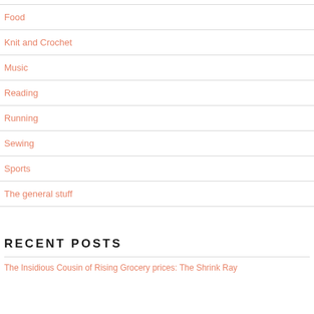Food
Knit and Crochet
Music
Reading
Running
Sewing
Sports
The general stuff
RECENT POSTS
The Insidious Cousin of Rising Grocery prices: The Shrink Ray